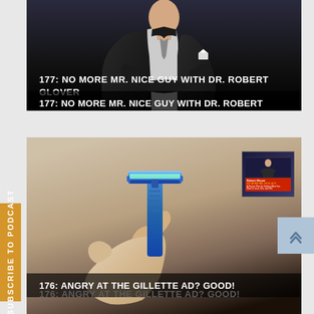[Figure (screenshot): Podcast episode card showing a man in dark suit: '177: NO MORE MR. NICE GUY WITH DR. ROBERT GLOVER']
177: NO MORE MR. NICE GUY WITH DR. ROBERT GLOVER
[Figure (screenshot): Podcast episode card showing a hand holding a blue razor blade with book thumbnail: '176: ANGRY AT THE GILLETTE AD? GOOD!']
176: ANGRY AT THE GILLETTE AD? GOOD!
SUBSCRIBE TO PODCAST